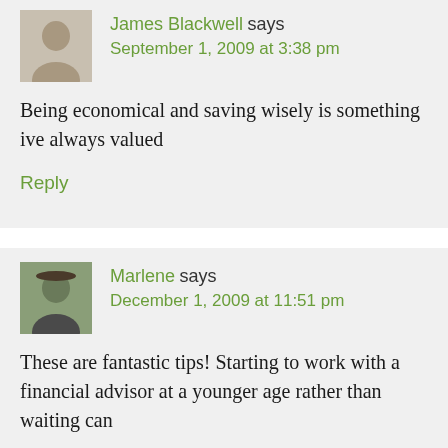James Blackwell says
September 1, 2009 at 3:38 pm
Being economical and saving wisely is something ive always valued
Reply
Marlene says
December 1, 2009 at 11:51 pm
These are fantastic tips! Starting to work with a financial advisor at a younger age rather than waiting can